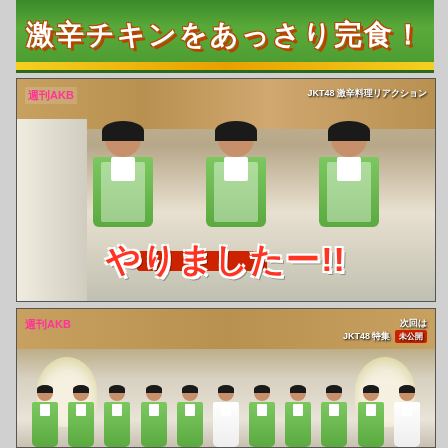[Figure (photo): Top banner with Japanese text '激辛チキンをあっさり完食！' (Easily finished the spicy chicken!) on a green background with food imagery]
[Figure (screenshot): TV show screenshot from 週刊AKB showing three JKT48 members in green plaid dresses celebrating with arms raised. Overlay text reads 'やりましたー!!' (We did it!!). Top right overlay reads 'JKT48 激辛料理リアクション' (JKT48 Spicy Food Reaction)]
[Figure (screenshot): TV show screenshot from 週刊AKB showing a larger group of JKT48 members in green dresses celebrating in a decorated room with flowers. Top right text reads '次回は JKT48 特集 未公開' (Next time: JKT48 Special Unpublished)]